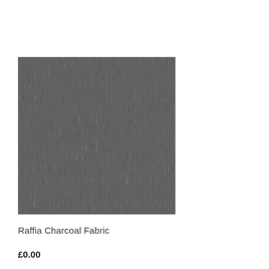[Figure (photo): Close-up photograph of a charcoal grey fabric texture with fine woven pattern, showing a dark medium-grey textile surface with slight variation in tone.]
Raffia Charcoal Fabric
£0.00